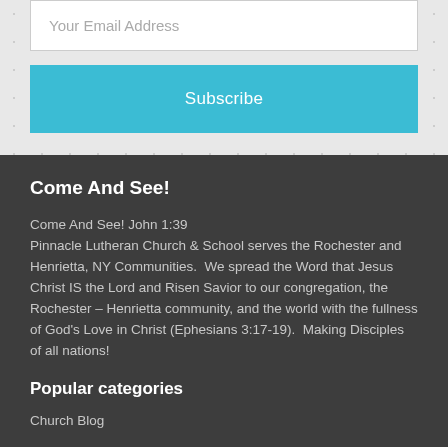Your Email Address
Subscribe
Come And See!
Come And See!  John 1:39
Pinnacle Lutheran Church & School serves the Rochester and Henrietta, NY Communities.  We spread the Word that Jesus Christ IS the Lord and Risen Savior to our congregation, the Rochester – Henrietta community, and the world with the fullness of God's Love in Christ (Ephesians 3:17-19).  Making Disciples of all nations!
Popular categories
Church Blog